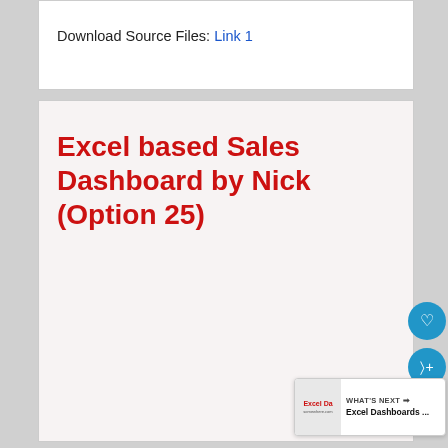Download Source Files: Link 1
Excel based Sales Dashboard by Nick (Option 25)
[Figure (screenshot): WHAT'S NEXT arrow with thumbnail preview showing Excel Dashboards ...]